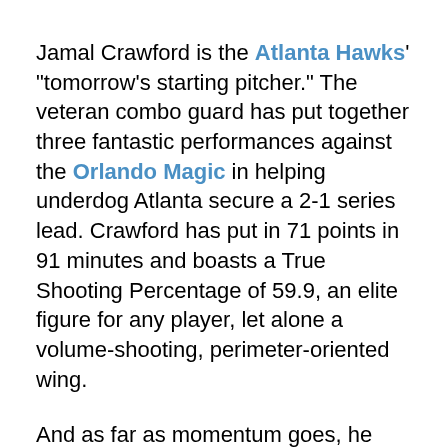Jamal Crawford is the Atlanta Hawks' "tomorrow's starting pitcher." The veteran combo guard has put together three fantastic performances against the Orlando Magic in helping underdog Atlanta secure a 2-1 series lead. Crawford has put in 71 points in 91 minutes and boasts a True Shooting Percentage of 59.9, an elite figure for any player, let alone a volume-shooting, perimeter-oriented wing.
And as far as momentum goes, he has all of it. He capped off Friday's Hawks win by banking in a deep, heavily contested three-pointer, at the shot-clock buzzer, with 5.7 seconds to play, at home, to give his team a 2-1 series lead against a club which swept his by 25.3 points in last year's playoffs.
Yeah, there are a number of factors working in